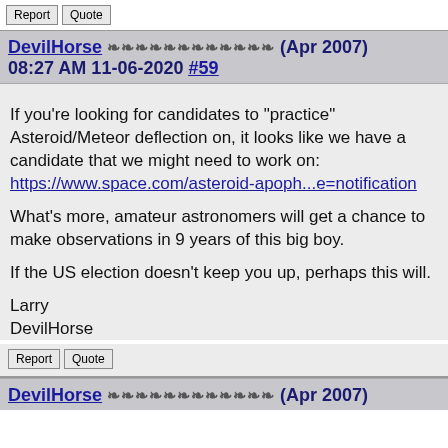Report  Quote
DevilHorse ❧❧❧❧❧❧❧❧❧❧❧❧ (Apr 2007) 08:27 AM 11-06-2020 #59
If you're looking for candidates to "practice" Asteroid/Meteor deflection on, it looks like we have a candidate that we might need to work on:
https://www.space.com/asteroid-apoph...e=notification

What's more, amateur astronomers will get a chance to make observations in 9 years of this big boy.

If the US election doesn't keep you up, perhaps this will.

Larry
DevilHorse
Report  Quote
DevilHorse ❧❧❧❧❧❧❧❧❧❧❧❧ (Apr 2007)